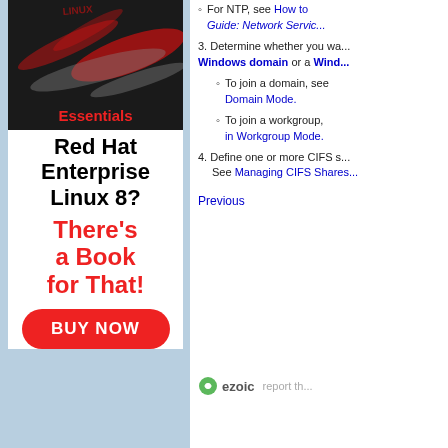[Figure (illustration): Red Hat Enterprise Linux book advertisement with dark tech background and red accents showing 'Essentials' label]
For NTP, see How to... Guide: Network Servic...
3. Determine whether you want to join a Windows domain or a Wind...
To join a domain, see... Domain Mode.
To join a workgroup, ... in Workgroup Mode.
4. Define one or more CIFS s... See Managing CIFS Shares...
Previous